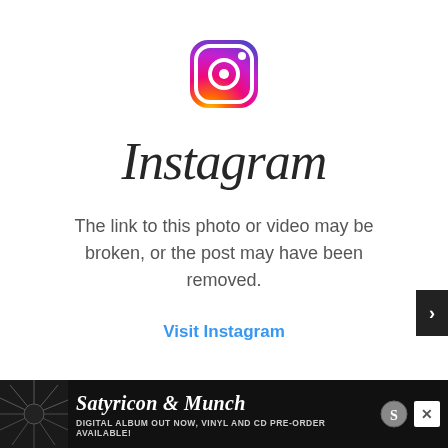[Figure (logo): Instagram camera icon logo with gradient fill from yellow-orange at bottom-left to pink-red at top-right, with white camera body outline and white lens circle]
Instagram
The link to this photo or video may be broken, or the post may have been removed.
Visit Instagram
[Figure (other): Advertisement banner: black background with album art thumbnail showing radiating light beams, text reads 'Satyricon & Munch' in italic serif font, subtitle 'DIGITAL ALBUM OUT NOW, VINYL AND CD PRE-ORDER AVAILABLE!' with small emblem icon on right]